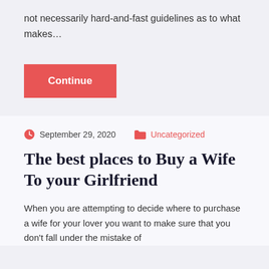not necessarily hard-and-fast guidelines as to what makes…
Continue
September 29, 2020   Uncategorized
The best places to Buy a Wife To your Girlfriend
When you are attempting to decide where to purchase a wife for your lover you want to make sure that you don't fall under the mistake of